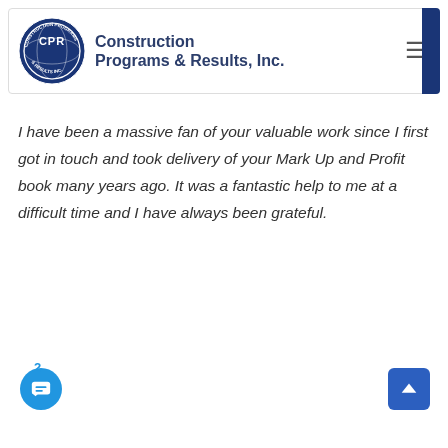[Figure (logo): Construction Programs & Results, Inc. logo with circular badge featuring CPR letters and company name text beside it, plus hamburger menu icon and navy blue sidebar bar]
I have been a massive fan of your valuable work since I first got in touch and took delivery of your Mark Up and Profit book many years ago. It was a fantastic help to me at a difficult time and I have always been grateful.
[Figure (other): Chat bubble button with badge number 2 in bottom left corner]
[Figure (other): Scroll to top button in bottom right corner]